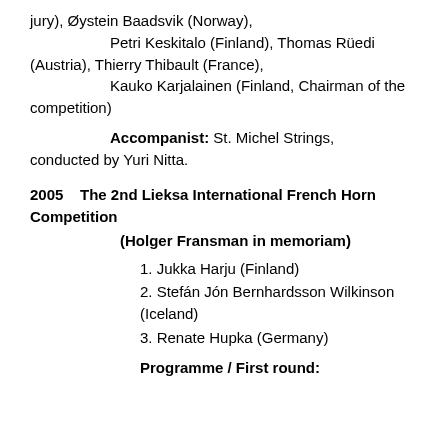jury), Øystein Baadsvik (Norway), Petri Keskitalo (Finland), Thomas Rüedi (Austria), Thierry Thibault (France), Kauko Karjalainen (Finland, Chairman of the competition)
Accompanist: St. Michel Strings, conducted by Yuri Nitta.
2005    The 2nd Lieksa International French Horn Competition
(Holger Fransman in memoriam)
1. Jukka Harju (Finland)
2. Stefán Jón Bernhardsson Wilkinson (Iceland)
3. Renate Hupka (Germany)
Programme / First round: